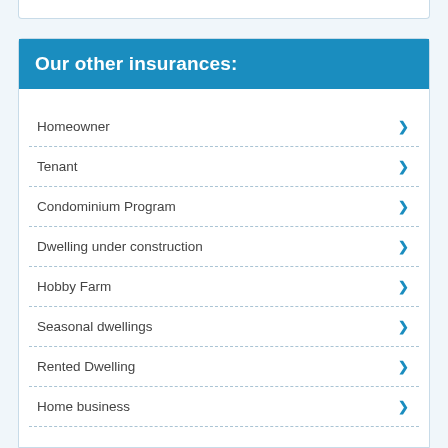Our other insurances:
Homeowner
Tenant
Condominium Program
Dwelling under construction
Hobby Farm
Seasonal dwellings
Rented Dwelling
Home business